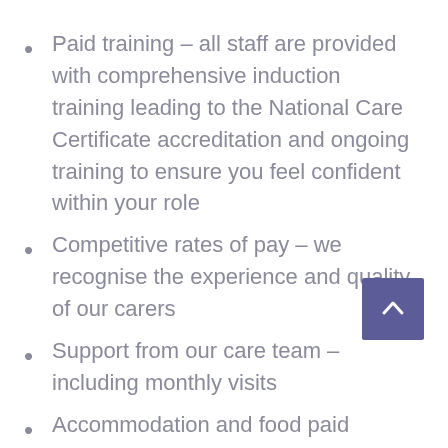Paid training – all staff are provided with comprehensive induction training leading to the National Care Certificate accreditation and ongoing training to ensure you feel confident within your role
Competitive rates of pay – we recognise the experience and quality of our carers
Support from our care team – including monthly visits
Accommodation and food paid